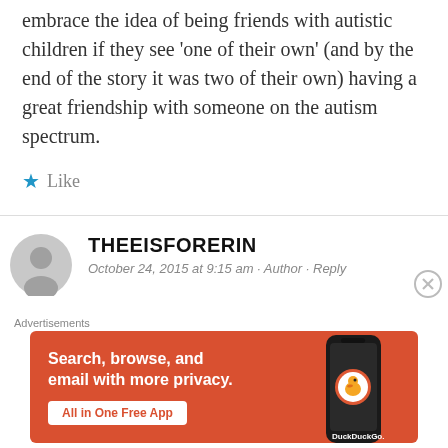embrace the idea of being friends with autistic children if they see 'one of their own' (and by the end of the story it was two of their own) having a great friendship with someone on the autism spectrum.
★ Like
THEEISFORERIN
October 24, 2015 at 9:15 am · Author · Reply
[Figure (screenshot): DuckDuckGo advertisement banner: 'Search, browse, and email with more privacy. All in One Free App' with DuckDuckGo logo on a phone, orange background.]